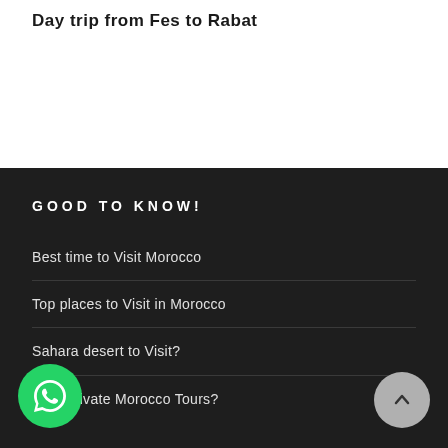Day trip from Fes to Rabat
GOOD TO KNOW!
Best time to Visit Morocco
Top places to Visit in Morocco
Sahara desert to Visit?
Why Private Morocco Tours?